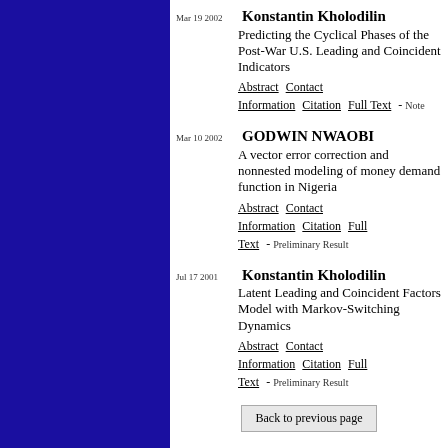Mar 19 2002 Konstantin Kholodilin – Predicting the Cyclical Phases of the Post-War U.S. Leading and Coincident Indicators. Abstract Contact Information Citation Full Text - Note
Mar 10 2002 GODWIN NWAOBI – A vector error correction and nonnested modeling of money demand function in Nigeria. Abstract Contact Information Citation Full Text - Preliminary Result
Jul 17 2001 Konstantin Kholodilin – Latent Leading and Coincident Factors Model with Markov-Switching Dynamics. Abstract Contact Information Citation Full Text - Preliminary Result
Back to previous page